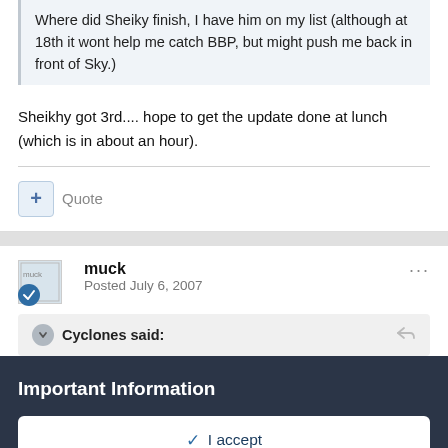Where did Sheiky finish, I have him on my list (although at 18th it wont help me catch BBP, but might push me back in front of Sky.)
Sheikhy got 3rd.... hope to get the update done at lunch (which is in about an hour).
+ Quote
muck
Posted July 6, 2007
Cyclones said:
Important Information
✓ I accept